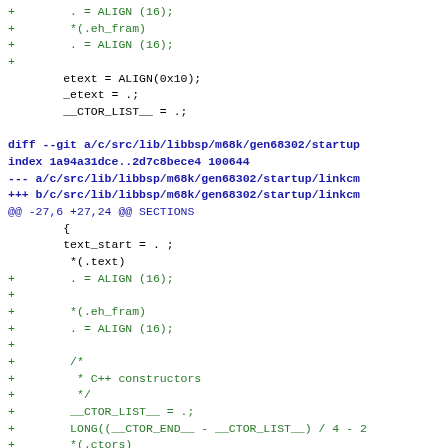diff code fragment showing additions to linker script for m68k/gen68302 startup, including .eh_fram, ALIGN(16), C++ constructors block, CTOR_LIST, LONG, .ctors, CTOR_END, DTOR_LIST